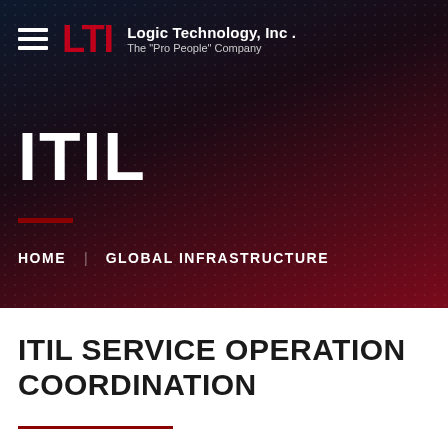Logic Technology, Inc. The "Pro People" Company
ITIL
HOME  GLOBAL INFRASTRUCTURE
ITIL SERVICE OPERATION COORDINATION